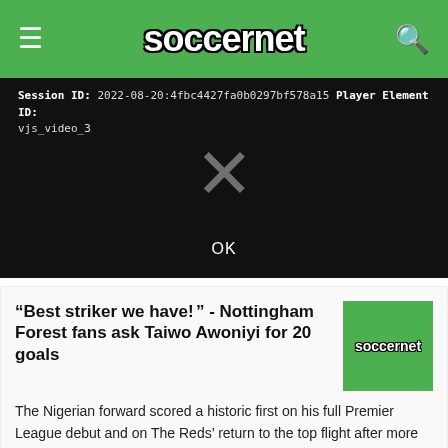soccernet
[Figure (screenshot): Video player error screen showing Session ID: 2022-08-20:4fbc4427fa0b0297bf578a15, Player Element ID: vjs_video_3, with an X mark and OK button on black background]
“Best striker we have! ” - Nottingham Forest fans ask Taiwo Awoniyi for 20 goals
The Nigerian forward scored a historic first on his full Premier League debut and on The Reds’ return to the top flight after more than two decades It took…
[Figure (other): Advertisement placeholder with light yellow/cream background]